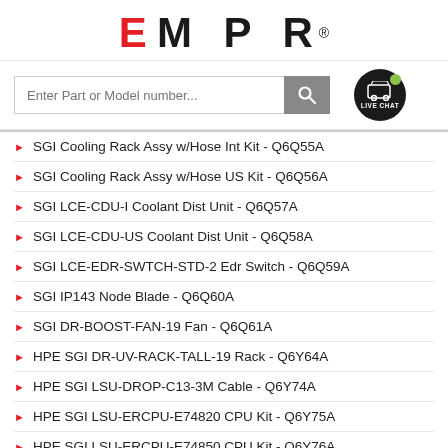[Figure (logo): EMPR logo with red E and black MPR letters, registered trademark symbol]
[Figure (screenshot): Search bar with placeholder 'Enter Part or Model number...' and gray search button, plus Live Chat circular button]
SGI Cooling Rack Assy w/Hose Int Kit - Q6Q55A
SGI Cooling Rack Assy w/Hose US Kit - Q6Q56A
SGI LCE-CDU-I Coolant Dist Unit - Q6Q57A
SGI LCE-CDU-US Coolant Dist Unit - Q6Q58A
SGI LCE-EDR-SWTCH-STD-2 Edr Switch - Q6Q59A
SGI IP143 Node Blade - Q6Q60A
SGI DR-BOOST-FAN-19 Fan - Q6Q61A
HPE SGI DR-UV-RACK-TALL-19 Rack - Q6Y64A
HPE SGI LSU-DROP-C13-3M Cable - Q6Y74A
HPE SGI LSU-ERCPU-E74820 CPU Kit - Q6Y75A
HPE SGI LSU-ERCPU-E74850 CPU Kit - Q6Y76A